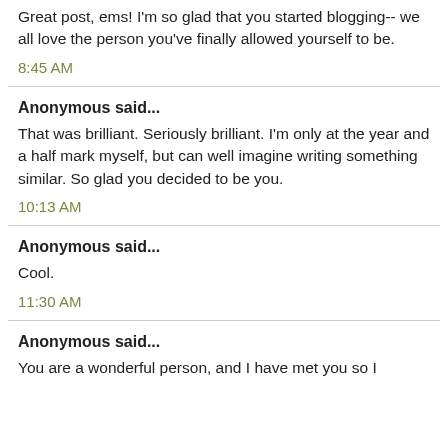Great post, ems! I'm so glad that you started blogging-- we all love the person you've finally allowed yourself to be.
8:45 AM
Anonymous said...
That was brilliant. Seriously brilliant. I'm only at the year and a half mark myself, but can well imagine writing something similar. So glad you decided to be you.
10:13 AM
Anonymous said...
Cool.
11:30 AM
Anonymous said...
You are a wonderful person, and I have met you so I